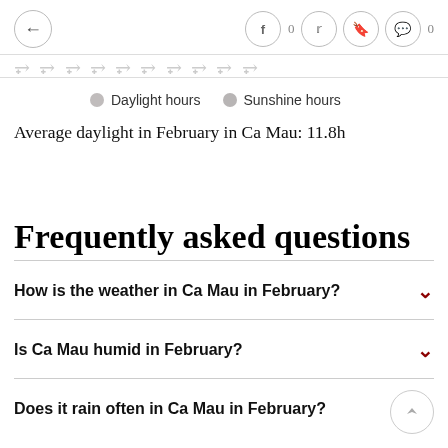← f 0 (twitter) (bookmark) (comment) 0
Daylight hours   Sunshine hours
Average daylight in February in Ca Mau: 11.8h
Frequently asked questions
How is the weather in Ca Mau in February?
Is Ca Mau humid in February?
Does it rain often in Ca Mau in February?